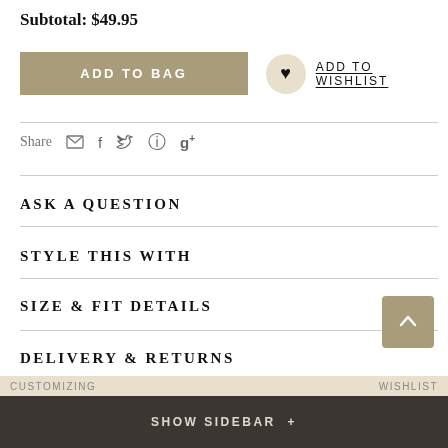Subtotal: $49.95
ADD TO BAG
ADD TO WISHLIST
Share
ASK A QUESTION
STYLE THIS WITH
SIZE & FIT DETAILS
DELIVERY & RETURNS
SHOW SIDEBAR +